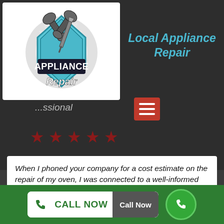[Figure (logo): Appliance Repair logo with wrenches and gear background, text reads APPLIANCE Repair]
Local Appliance Repair
[Figure (other): Hamburger menu button (red with three white lines)]
★ ★ ★ ★ ★
When I phoned your company for a cost estimate on the repair of my oven, I was connected to a well-informed technician who established an appointment that exact same day for me! They showed up to my residence swiftly and had the ability to fix my oven in a couple of hours. Thanks for everything!
CALL NOW  Call Now